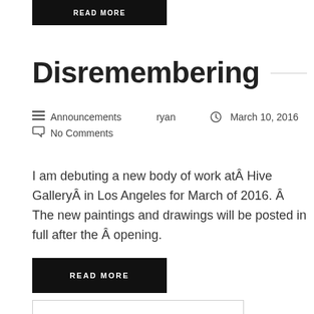[Figure (other): Black 'READ MORE' button at top]
Disremembering
Announcements   ryan   March 10, 2016   No Comments
I am debuting a new body of work atÂ Hive GalleryÂ in Los Angeles for March of 2016. Â The new paintings and drawings will be posted in full after the Â opening.
[Figure (other): Black 'READ MORE' button at bottom]
[Figure (other): Search input box (partially visible)]